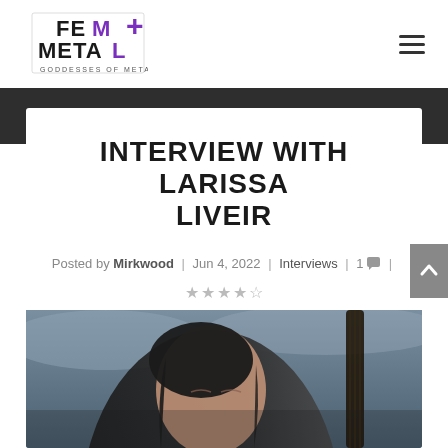[Figure (logo): FemMetal+ Goddesses of Metal logo with stylized text and purple plus symbol]
INTERVIEW WITH LARISSA LIVEIR
Posted by Mirkwood | Jun 4, 2022 | Interviews | 1 comment | ★★★★☆
[Figure (photo): Woman with dark wet hair, eyes closed, looking upward with guitar neck visible in background, overcast sky]